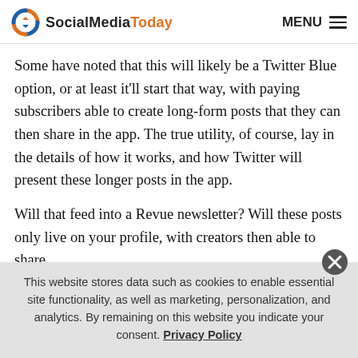SocialMediaToday   MENU
Some have noted that this will likely be a Twitter Blue option, or at least it'll start that way, with paying subscribers able to create long-form posts that they can then share in the app. The true utility, of course, lay in the details of how it works, and how Twitter will present these longer posts in the app.
Will that feed into a Revue newsletter? Will these posts only live on your profile, with creators then able to share
This website stores data such as cookies to enable essential site functionality, as well as marketing, personalization, and analytics. By remaining on this website you indicate your consent. Privacy Policy